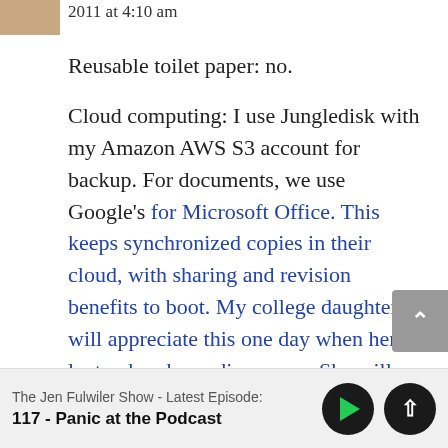2011 at 4:10 am
Reusable toilet paper: no.
Cloud computing: I use Jungledisk with my Amazon AWS S3 account for backup. For documents, we use Google’s for Microsoft Office. This keeps synchronized copies in their cloud, with sharing and revision benefits to boot. My college daughter will appreciate this one day when her laptop breaks or disappears. She will have immediate access to current versions of everything from any browser
The Jen Fulwiler Show - Latest Episode:
117 - Panic at the Podcast